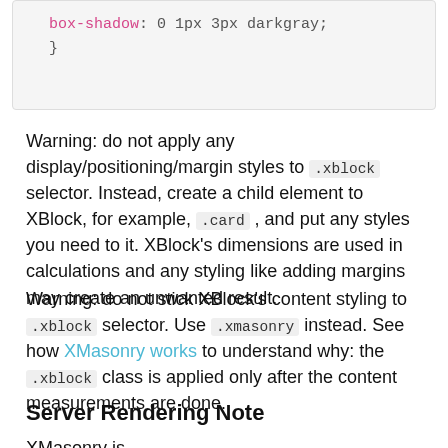box-shadow: 0 1px 3px darkgray;
}
Warning: do not apply any display/positioning/margin styles to .xblock selector. Instead, create a child element to XBlock, for example, .card , and put any styles you need to it. XBlock's dimensions are used in calculations and any styling like adding margins may create an unwanted result.
Warning: do not stick XBlock's content styling to .xblock selector. Use .xmasonry instead. See how XMasonry works to understand why: the .xblock class is applied only after the content measurements are done.
Server Rendering Note
XMasonry is...